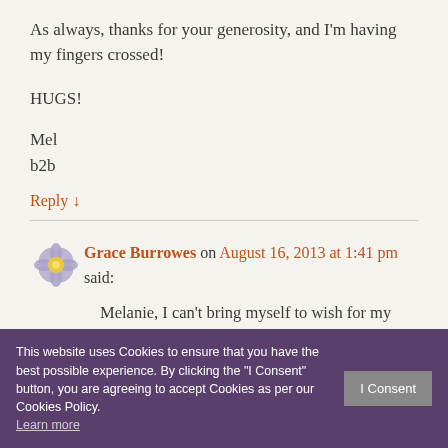As always, thanks for your generosity, and I'm having my fingers crossed!
HUGS!
Mel
b2b
Reply ↓
Grace Burrowes on August 16, 2013 at 1:41 pm said:
Melanie, I can't bring myself to wish for my daughter to become a Mom, not yet. My experience with parenting was honestly a little [obscured] it [obscured] person. To be smiled at by a baby is to smile
This website uses Cookies to ensure that you have the best possible experience. By clicking the "I Consent" button, you are agreeing to accept Cookies as per our Cookies Policy. Learn more